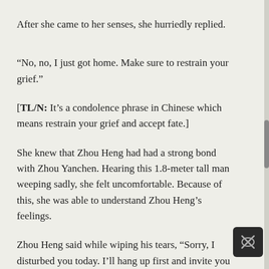After she came to her senses, she hurriedly replied.
“No, no, I just got home. Make sure to restrain your grief.”
[TL/N: It’s a condolence phrase in Chinese which means restrain your grief and accept fate.]
She knew that Zhou Heng had had a strong bond with Zhou Yanchen. Hearing this 1.8-meter tall man weeping sadly, she felt uncomfortable. Because of this, she was able to understand Zhou Heng’s feelings.
Zhou Heng said while wiping his tears, “Sorry, I disturbed you today. I’ll hang up first and invite you to dinner someday as an apology.”